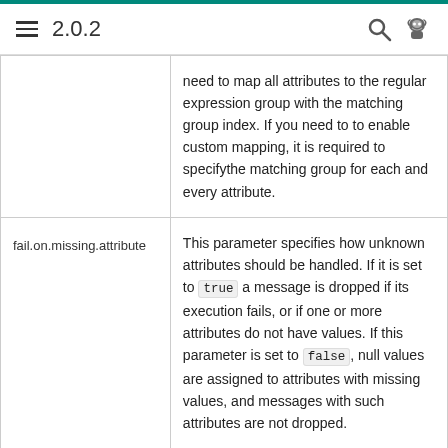2.0.2
| Parameter | Description |
| --- | --- |
|  | need to map all attributes to the regular expression group with the matching group index. If you need to to enable custom mapping, it is required to specifythe matching group for each and every attribute. |
| fail.on.missing.attribute | This parameter specifies how unknown attributes should be handled. If it is set to true a message is dropped if its execution fails, or if one or more attributes do not have values. If this parameter is set to false, null values are assigned to attributes with missing values, and messages with such attributes are not dropped. |
| event.grouping.enabled | This parameter specifies whether event grouping is enabled or not. To receive a |